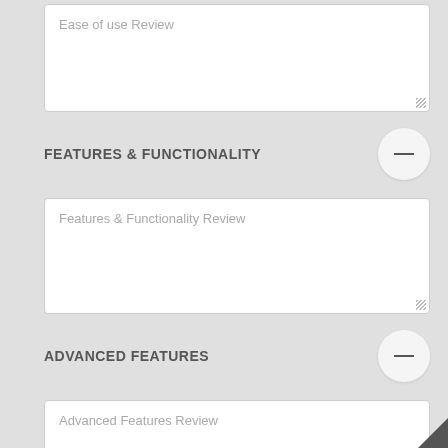Ease of use Review
FEATURES & FUNCTIONALITY
Features & Functionality Review
ADVANCED FEATURES
Advanced Features Review